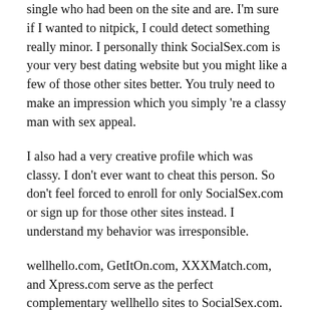single who had been on the site and are. I'm sure if I wanted to nitpick, I could detect something really minor. I personally think SocialSex.com is your very best dating website but you might like a few of those other sites better. You truly need to make an impression which you simply 're a classy man with sex appeal.
I also had a very creative profile which was classy. I don't ever want to cheat this person. So don't feel forced to enroll for only SocialSex.com or sign up for those other sites instead. I understand my behavior was irresponsible.
wellhello.com, GetItOn.com, XXXMatch.com, and Xpress.com serve as the perfect complementary wellhello sites to SocialSex.com. Be interesting and appear intelligent. I think knowing this makes me a much better partner than I was when I was wed. It's a matter of